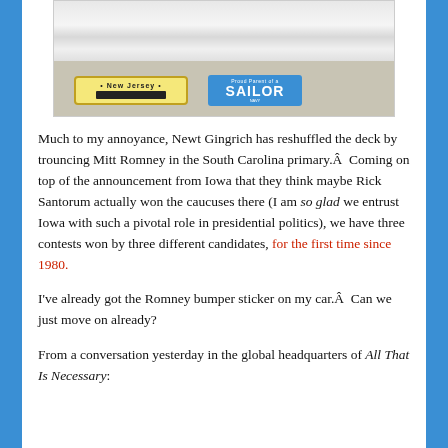[Figure (photo): Photo of the back of a car covered in snow, showing a New Jersey license plate and a 'Proud Parent of a SAILOR' bumper sticker from the Navy.]
Much to my annoyance, Newt Gingrich has reshuffled the deck by trouncing Mitt Romney in the South Carolina primary.Â  Coming on top of the announcement from Iowa that they think maybe Rick Santorum actually won the caucuses there (I am so glad we entrust Iowa with such a pivotal role in presidential politics), we have three contests won by three different candidates, for the first time since 1980.
I've already got the Romney bumper sticker on my car.Â  Can we just move on already?
From a conversation yesterday in the global headquarters of All That Is Necessary: